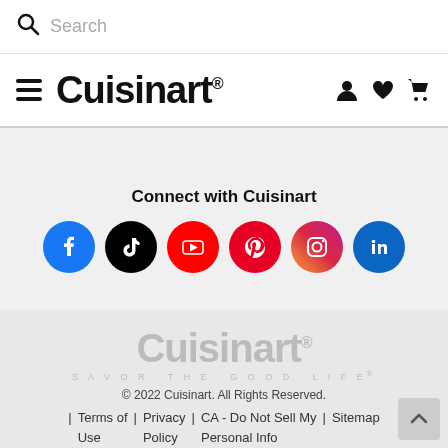Search
[Figure (logo): Cuisinart logo with hamburger menu, user, heart, and cart icons in navigation bar]
Connect with Cuisinart
[Figure (illustration): Row of 6 social media icons: Facebook, TikTok, YouTube, Pinterest, Instagram, LinkedIn]
[Figure (logo): Cuisinart logo in gray with tagline SAVOR THE GOOD LIFE]
© 2022 Cuisinart. All Rights Reserved. | Terms of Use | Privacy Policy | CA - Do Not Sell My Personal Info | Sitemap